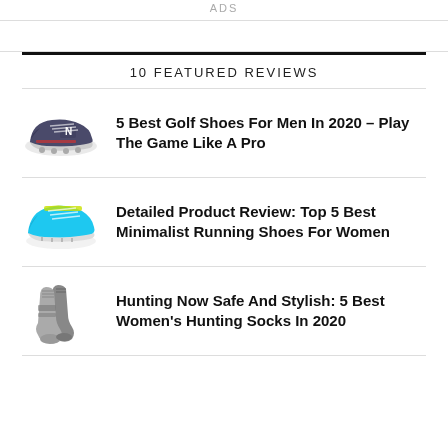ADS
10 FEATURED REVIEWS
5 Best Golf Shoes For Men In 2020 – Play The Game Like A Pro
Detailed Product Review: Top 5 Best Minimalist Running Shoes For Women
Hunting Now Safe And Stylish: 5 Best Women's Hunting Socks In 2020